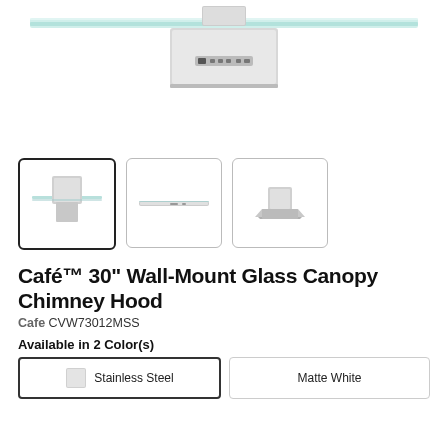[Figure (photo): Main product image of Café 30-inch Wall-Mount Glass Canopy Chimney Hood, showing the wide flat glass canopy top-down view from above, stainless steel body, on white background.]
[Figure (photo): Thumbnail 1 (selected): Front view of the chimney hood with glass canopy, stainless steel.]
[Figure (photo): Thumbnail 2: Side/profile view of the chimney hood, very slim horizontal silhouette.]
[Figure (photo): Thumbnail 3: Angled perspective view of the chimney hood.]
Café™ 30" Wall-Mount Glass Canopy Chimney Hood
Cafe CVW73012MSS
Available in 2 Color(s)
| Stainless Steel | Matte White |
| --- | --- |